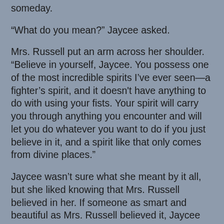someday.
“What do you mean?” Jaycee asked.
Mrs. Russell put an arm across her shoulder. “Believe in yourself, Jaycee. You possess one of the most incredible spirits I’ve ever seen—a fighter’s spirit, and it doesn't have anything to do with using your fists. Your spirit will carry you through anything you encounter and will let you do whatever you want to do if you just believe in it, and a spirit like that only comes from divine places.”
Jaycee wasn’t sure what she meant by it all, but she liked knowing that Mrs. Russell believed in her. If someone as smart and beautiful as Mrs. Russell believed it, Jaycee had to think it might be true.
“Okay, Mrs. Russell,” she said. “I’ll try to remember that the next time I get mad and want to punch somebody. And the library card is the best present ever.”
“I’m glad you feel that way, Jaycee. Use it to keep your brain